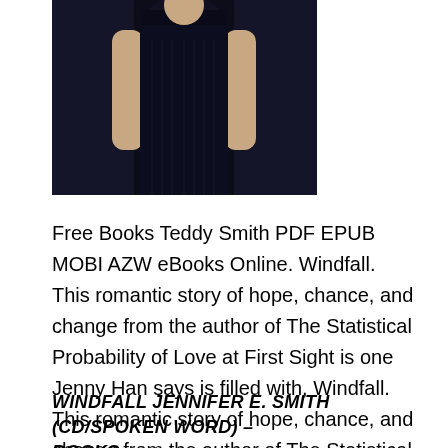[Figure (photo): Photo of a woman in a dark dress, cropped at the torso/shoulders area, with dark background]
Free Books Teddy Smith PDF EPUB MOBI AZW eBooks Online. Windfall. This romantic story of hope, chance, and change from the author of The Statistical Probability of Love at First Sight is one Jenny Han says is filled with, Windfall. This romantic story of hope, chance, and change from the author of The Statistical Probability of Love at First Sight is one Jenny Han says is filled with.
WINDFALL JENNIFER E. SMITH (CD/SPOKEN WORD) – BOOKS